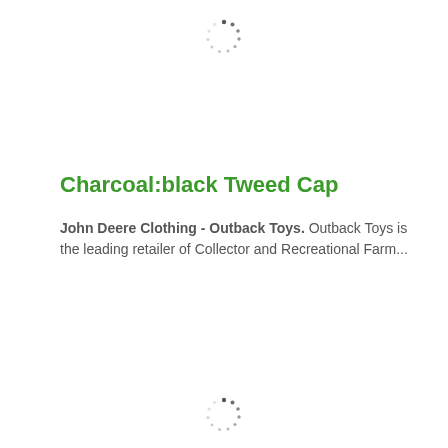[Figure (other): Loading spinner dots in circular pattern, top card]
Charcoal:black Tweed Cap
John Deere Clothing - Outback Toys. Outback Toys is the leading retailer of Collector and Recreational Farm...
[Figure (other): Loading spinner dots in circular pattern, bottom card]